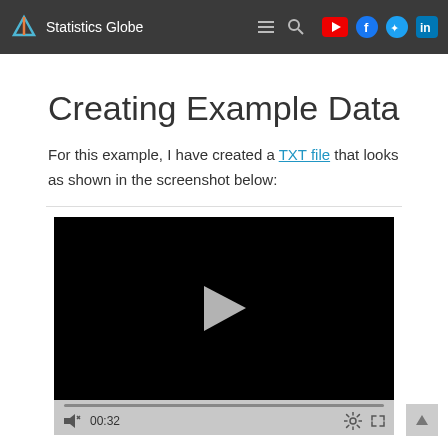Statistics Globe
Creating Example Data
For this example, I have created a TXT file that looks as shown in the screenshot below:
[Figure (screenshot): Embedded video player showing a paused video (black screen with play button), a progress bar, and controls showing 00:32 timestamp with mute, settings, and fullscreen icons.]